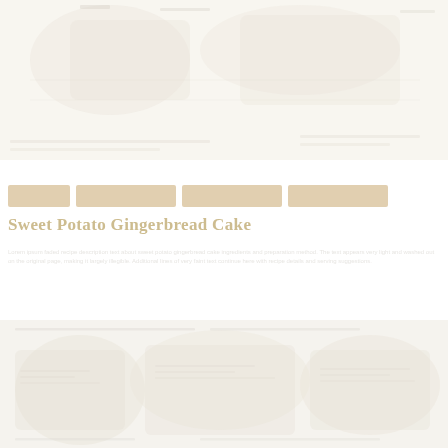[Figure (photo): Faded/washed-out photo of a sweet potato gingerbread cake at the top of the page]
[Figure (infographic): Four colored horizontal bars in a row, decorative category/tag indicators]
Sweet Potato Gingerbread Cake
Faded descriptive text about the recipe, largely illegible due to very light color
[Figure (photo): Faded/washed-out photo at the bottom of the page showing cake or ingredients]